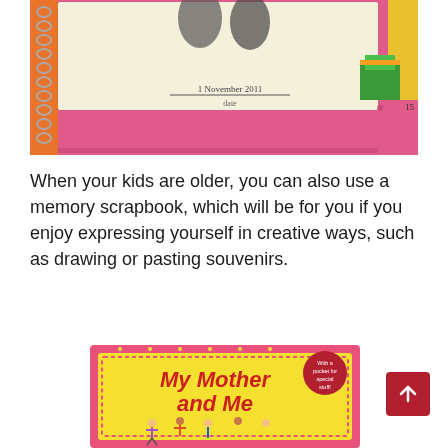[Figure (photo): A colorful children's memory scrapbook with pink spiral binding, showing a page with footprints stamped in ink dated '1 November 2011', decorative paw prints, cartoon characters popping out of gift boxes, and a handwritten quote about children. Page number 15 visible.]
When your kids are older, you can also use a memory scrapbook, which will be for you if you enjoy expressing yourself in creative ways, such as drawing or pasting souvenirs.
[Figure (photo): Book cover of 'My Mother and Me' with a yellow background, pink border with decorative dots, cartoon children holding hands in a circle, and a badge reading 'With a pocket for special stuff'.]